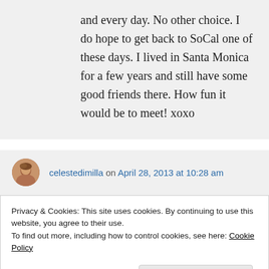and every day. No other choice. I do hope to get back to SoCal one of these days. I lived in Santa Monica for a few years and still have some good friends there. How fun it would be to meet! xoxo
celestedimilla on April 28, 2013 at 10:28 am
Privacy & Cookies: This site uses cookies. By continuing to use this website, you agree to their use.
To find out more, including how to control cookies, see here: Cookie Policy
your old friends. I'd be happy to meet you